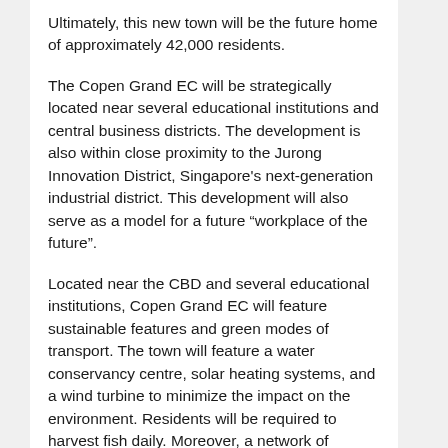Ultimately, this new town will be the future home of approximately 42,000 residents.
The Copen Grand EC will be strategically located near several educational institutions and central business districts. The development is also within close proximity to the Jurong Innovation District, Singapore's next-generation industrial district. This development will also serve as a model for a future “workplace of the future”.
Located near the CBD and several educational institutions, Copen Grand EC will feature sustainable features and green modes of transport. The town will feature a water conservancy centre, solar heating systems, and a wind turbine to minimize the impact on the environment. Residents will be required to harvest fish daily. Moreover, a network of underground roads will facilitate transportation within the town. The development will be arranged into five districts. Each district will feature its own special features and amenities.
The EC site spans an area of 22,020 sq m, and the maximum